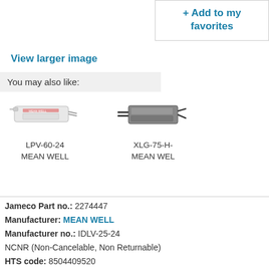+ Add to my favorites
View larger image
You may also like:
[Figure (photo): Photo of LPV-60-24 MEAN WELL power supply]
LPV-60-24
MEAN WELL
[Figure (photo): Photo of XLG-75-H- MEAN WEL power supply]
XLG-75-H-
MEAN WEL
Jameco Part no.: 2274447
Manufacturer: MEAN WELL
Manufacturer no.: IDLV-25-24
NCNR (Non-Cancelable, Non Returnable)
HTS code: 8504409520
Data Sheet (current) [256 KB ]
REACH Certificate [570 KB ]